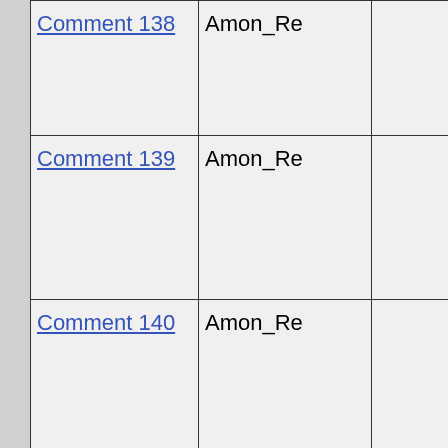|  | Author |  | Date |
| --- | --- | --- | --- |
| Comment 138 | Amon_Re |  | Jun-2003 21:42 GMT |
| Comment 139 | Amon_Re |  | 03-Jun-2003 21:43 GMT |
| Comment 140 | Amon_Re |  | 03-Jun-2003 21:44 GMT |
| Comment 141 | JoannaK |  | 03-Jun-2003 22:20 GMT |
| Comment 142 | T_Bone |  | 03-Jun-2003 22:21 GMT |